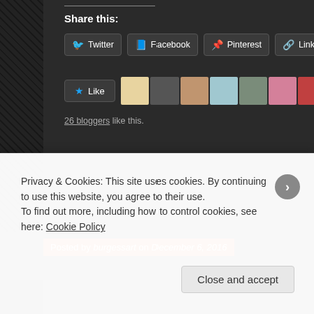Share this:
Twitter  Facebook  Pinterest  LinkedIn
Like
26 bloggers like this.
Posted by burgessart on December 6, 2016
Table 12
Posted in: Art / Arts, Art Collectors / Lovers / Patrons, Arts, Colour, Photograp…
Privacy & Cookies: This site uses cookies. By continuing to use this website, you agree to their use.
To find out more, including how to control cookies, see here: Cookie Policy
Close and accept